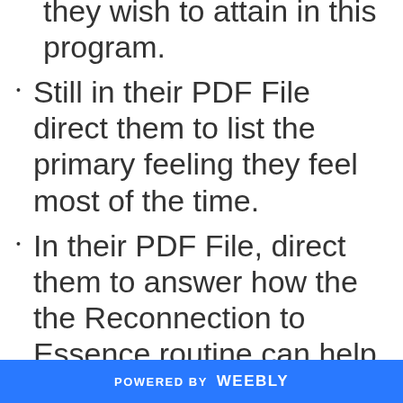they wish to attain in this program.
Still in their PDF File direct them to list the primary feeling they feel most of the time.
In their PDF File, direct them to answer how the the Reconnection to Essence routine can help them daily, supplying them the answer, reiterating what was taught
POWERED BY weebly